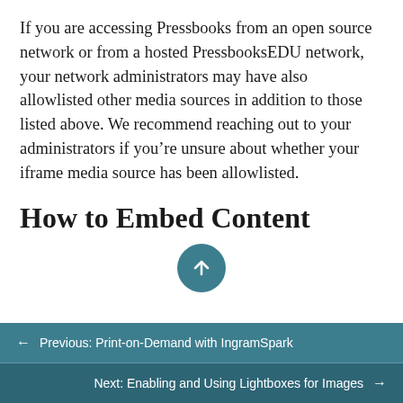If you are accessing Pressbooks from an open source network or from a hosted PressbooksEDU network, your network administrators may have also allowlisted other media sources in addition to those listed above. We recommend reaching out to your administrators if you’re unsure about whether your iframe media source has been allowlisted.
How to Embed Content
Previous: Print-on-Demand with IngramSpark
Next: Enabling and Using Lightboxes for Images